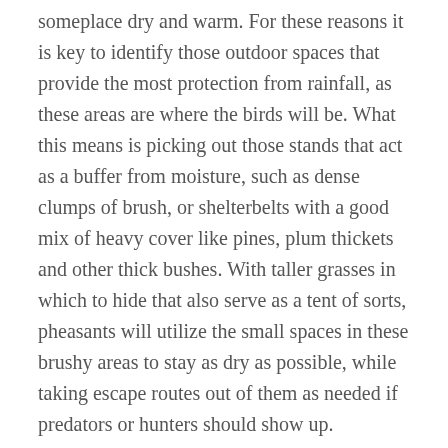someplace dry and warm. For these reasons it is key to identify those outdoor spaces that provide the most protection from rainfall, as these areas are where the birds will be. What this means is picking out those stands that act as a buffer from moisture, such as dense clumps of brush, or shelterbelts with a good mix of heavy cover like pines, plum thickets and other thick bushes. With taller grasses in which to hide that also serve as a tent of sorts, pheasants will utilize the small spaces in these brushy areas to stay as dry as possible, while taking escape routes out of them as needed if predators or hunters should show up.